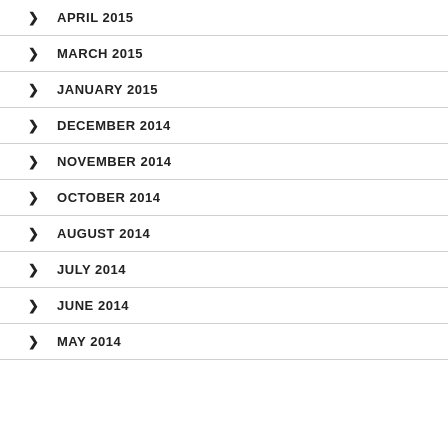APRIL 2015
MARCH 2015
JANUARY 2015
DECEMBER 2014
NOVEMBER 2014
OCTOBER 2014
AUGUST 2014
JULY 2014
JUNE 2014
MAY 2014